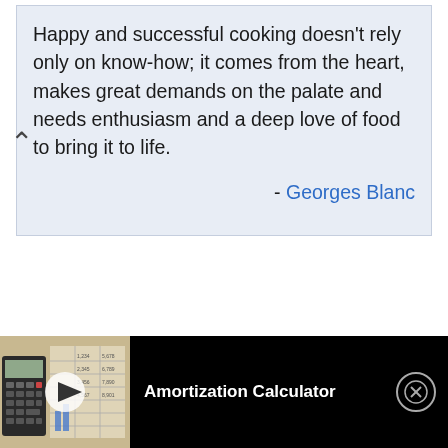Happy and successful cooking doesn't rely only on know-how; it comes from the heart, makes great demands on the palate and needs enthusiasm and a deep love of food to bring it to life.
- Georges Blanc
To simplify complications is the first essential of success.
- George Earle Buckle
We will... (partially visible)
[Figure (screenshot): Video ad bar at bottom of screen showing a thumbnail of a calculator and financial documents with a play button, label 'Amortization Calculator', and a close (X) button]